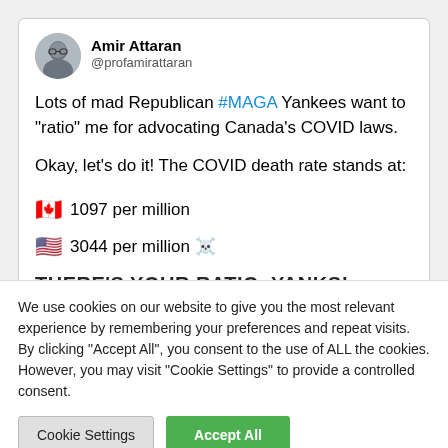[Figure (screenshot): Twitter/X screenshot of a tweet by Amir Attaran (@profamirattaran) showing a profile photo, display name, handle, and tweet text about COVID death rates comparing Canada and USA]
We use cookies on our website to give you the most relevant experience by remembering your preferences and repeat visits. By clicking "Accept All", you consent to the use of ALL the cookies. However, you may visit "Cookie Settings" to provide a controlled consent.